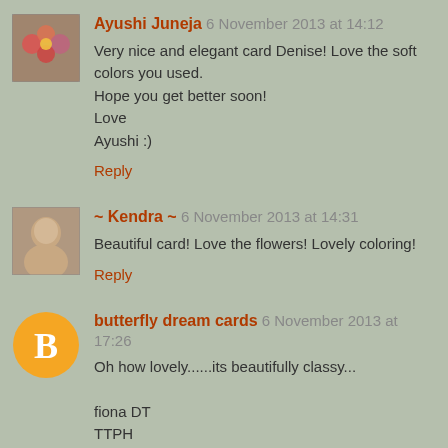[Figure (photo): Avatar image of Ayushi Juneja - small square photo with colorful craft/flower design]
Ayushi Juneja 6 November 2013 at 14:12
Very nice and elegant card Denise! Love the soft colors you used.
Hope you get better soon!
Love
Ayushi :)
Reply
[Figure (photo): Avatar image of Kendra - small square photo of a woman]
~ Kendra ~ 6 November 2013 at 14:31
Beautiful card! Love the flowers! Lovely coloring!
Reply
[Figure (logo): Blogger B logo - orange circle with white B letter]
butterfly dream cards 6 November 2013 at 17:26
Oh how lovely......its beautifully classy...

fiona DT
TTPH